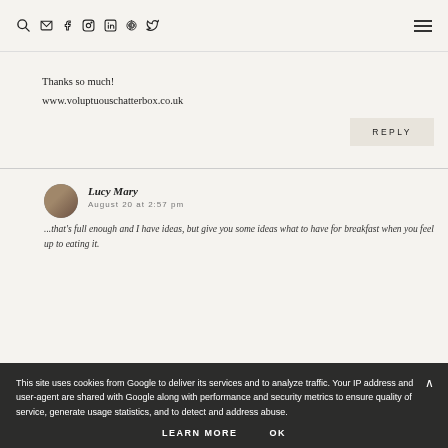Nav icons: search, email, facebook, instagram, linkedin, pinterest, twitter; hamburger menu
Thanks so much!
www.voluptuouschatterbox.co.uk
REPLY
Lucy Mary
August 20 at 2:57 pm
...that's full enough and I have ideas, but give you some ideas what to have for breakfast when you feel up to eating it.
This site uses cookies from Google to deliver its services and to analyze traffic. Your IP address and user-agent are shared with Google along with performance and security metrics to ensure quality of service, generate usage statistics, and to detect and address abuse.
LEARN MORE
OK